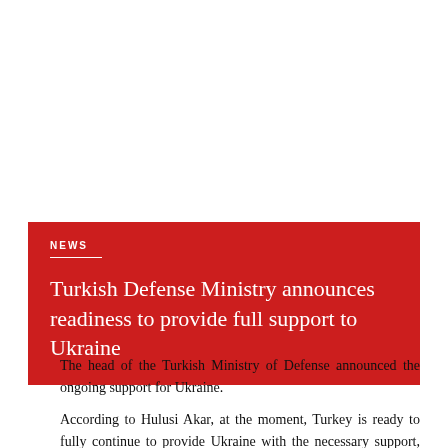NEWS
Turkish Defense Ministry announces readiness to provide full support to Ukraine
The head of the Turkish Ministry of Defense announced the ongoing support for Ukraine.
According to Hulusi Akar, at the moment, Turkey is ready to fully continue to provide Ukraine with the necessary support, probably, including in the provision of weapons. In fact, and not to quote Hulusi Akar, and during the